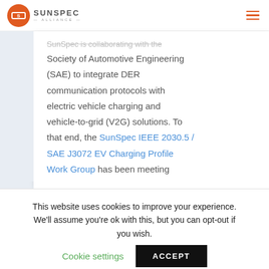SunSpec Alliance
SunSpec is collaborating with the Society of Automotive Engineering (SAE) to integrate DER communication protocols with electric vehicle charging and vehicle-to-grid (V2G) solutions. To that end, the SunSpec IEEE 2030.5 / SAE J3072 EV Charging Profile Work Group has been meeting
This website uses cookies to improve your experience. We'll assume you're ok with this, but you can opt-out if you wish. Cookie settings ACCEPT